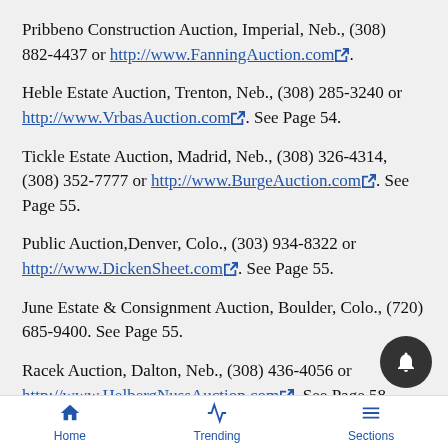Pribbeno Construction Auction, Imperial, Neb., (308) 882-4437 or http://www.FanningAuction.com.
Heble Estate Auction, Trenton, Neb., (308) 285-3240 or http://www.VrbasAuction.com. See Page 54.
Tickle Estate Auction, Madrid, Neb., (308) 326-4314, (308) 352-7777 or http://www.BurgeAuction.com. See Page 55.
Public Auction, Denver, Colo., (303) 934-8322 or http://www.DickenSheet.com. See Page 55.
June Estate & Consignment Auction, Boulder, Colo., (720) 685-9400. See Page 55.
Racek Auction, Dalton, Neb., (308) 436-4056 or http://www.HelbergNussAuction.com. See Page 58.
Home  Trending  Sections